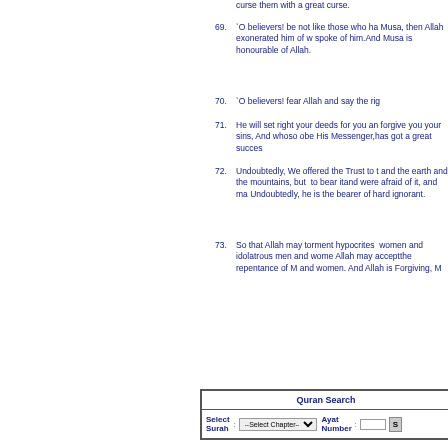curse them with a great curse.
69. `O believers! be not like those who have hurt Musa, then Allah exonerated him of what they spoke of him.And Musa is honourable in the sight of Allah.
70. `O believers! fear Allah and say the right word.
71. He will set right your deeds for you and forgive you your sins, And whoso obeys Allah and His Messenger,has got a great success.
72. Undoubtedly, We offered the Trust to the heavens and the earth and the mountains, but they refused to bear itand were afraid of it, and man bore it. Undoubtedly, he is the bearer of hardship, very ignorant.
73. So that Allah may torment hypocrites men and women and idolatrous men and women, and that Allah may acceptthe repentance of Muslim men and women. And Allah is Forgiving, Merciful.
| Quran Search |
| --- |
| Select Surah | --Select Chapter-- | Ayat Number |  | S |